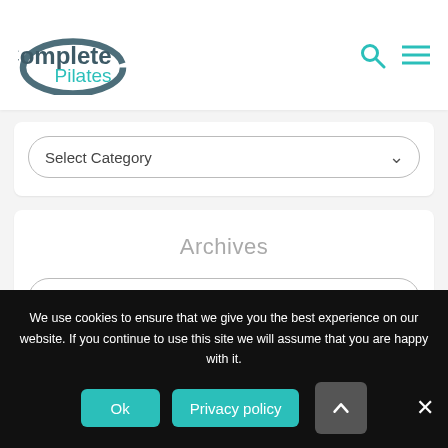[Figure (logo): Complete Pilates logo with oval swoosh graphic in dark teal/grey and teal text]
Select Category
Archives
Select Month
We use cookies to ensure that we give you the best experience on our website. If you continue to use this site we will assume that you are happy with it.
Ok
Privacy policy